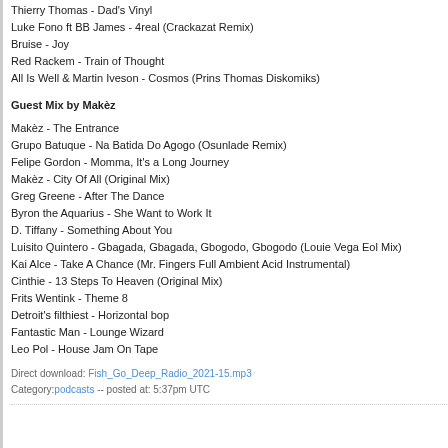Thierry Thomas - Dad's Vinyl
Luke Fono ft BB James - 4real (Crackazat Remix)
Bruise - Joy
Red Rackem - Train of Thought
All Is Well & Martin Iveson - Cosmos (Prins Thomas Diskomiks)
Guest Mix by Makèz
Makèz - The Entrance
Grupo Batuque - Na Batida Do Agogo (Osunlade Remix)
Felipe Gordon - Momma, It's a Long Journey
Makèz - City Of All (Original Mix)
Greg Greene - After The Dance
Byron the Aquarius - She Want to Work It
D. Tiffany - Something About You
Luisito Quintero - Gbagada, Gbagada, Gbogodo, Gbogodo (Louie Vega Eol Mix)
Kai Alce - Take A Chance (Mr. Fingers Full Ambient Acid Instrumental)
Cinthie - 13 Steps To Heaven (Original Mix)
Frits Wentink - Theme 8
Detroit's filthiest - Horizontal bop
Fantastic Man - Lounge Wizard
Leo Pol - House Jam On Tape
Direct download: Fish_Go_Deep_Radio_2021-15.mp3
Category:podcasts -- posted at: 5:37pm UTC